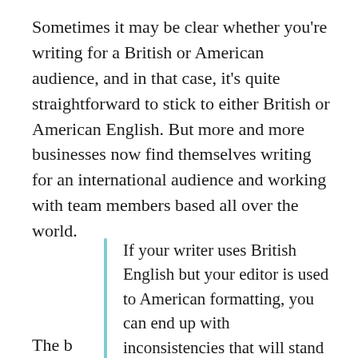Sometimes it may be clear whether you're writing for a British or American audience, and in that case, it's quite straightforward to stick to either British or American English. But more and more businesses now find themselves writing for an international audience and working with team members based all over the world.
If your writer uses British English but your editor is used to American formatting, you can end up with inconsistencies that will stand out to some readers.
The b...